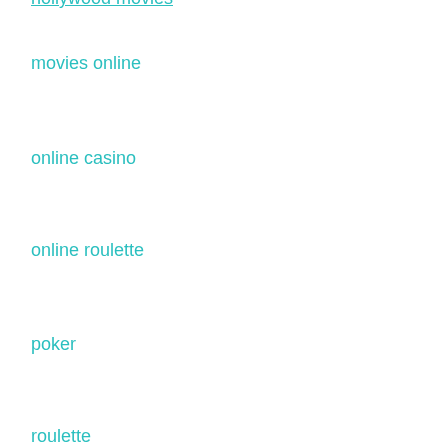hollywood movies (cut off at top)
movies online
online casino
online roulette
poker
roulette
sbobet
slot machines
Soccer Tips
Sports Betting
Sports Online